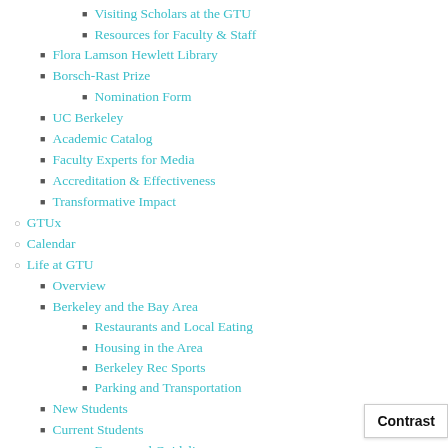Visiting Scholars at the GTU
Resources for Faculty & Staff
Flora Lamson Hewlett Library
Borsch-Rast Prize
Nomination Form
UC Berkeley
Academic Catalog
Faculty Experts for Media
Accreditation & Effectiveness
Transformative Impact
GTUx
Calendar
Life at GTU
Overview
Berkeley and the Bay Area
Restaurants and Local Eating
Housing in the Area
Berkeley Rec Sports
Parking and Transportation
New Students
Current Students
Forms and Guidelines
Registrars of the GTU
Contrast